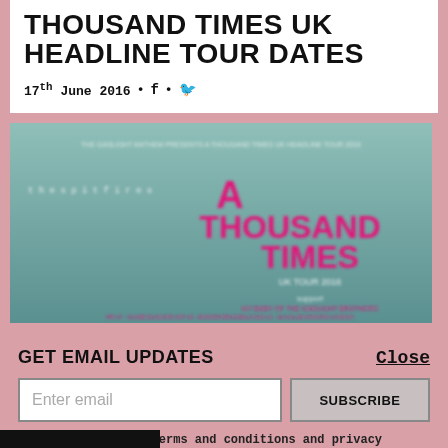THOUSAND TIMES UK HEADLINE TOUR DATES
17th June 2016 • f • 🐦
[Figure (illustration): Promotional tour poster for 'A Thousand Times UK Tour 2016' by The Spitfires, with teal/green gradient background and pink/magenta bold decorative text.]
GET EMAIL UPDATES
Close
Enter email
SUBSCRIBE
I accept the terms and conditions and privacy policy